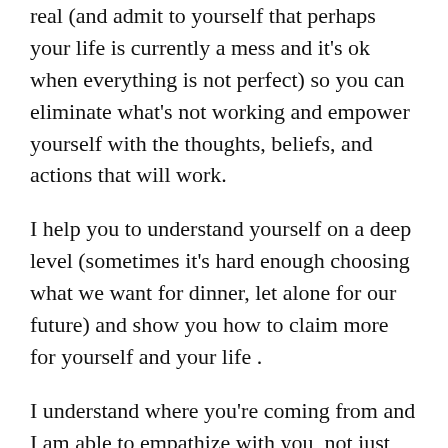real (and admit to yourself that perhaps your life is currently a mess and it's ok when everything is not perfect) so you can eliminate what's not working and empower yourself with the thoughts, beliefs, and actions that will work.
I help you to understand yourself on a deep level (sometimes it's hard enough choosing what we want for dinner, let alone for our future) and show you how to claim more for yourself and your life .
I understand where you're coming from and I am able to empathize with you, not just sympathize.
Believe me, I get it.
There is no judgement or shame, only your